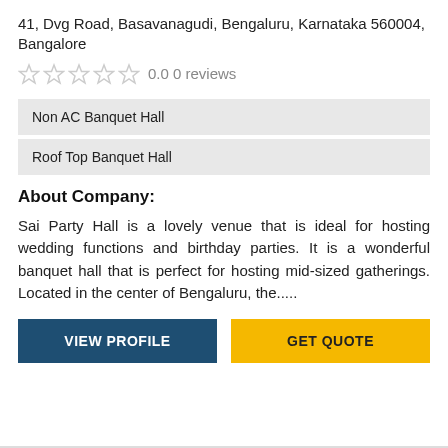41, Dvg Road, Basavanagudi, Bengaluru, Karnataka 560004, Bangalore
0.0 0 reviews
Non AC Banquet Hall
Roof Top Banquet Hall
About Company:
Sai Party Hall is a lovely venue that is ideal for hosting wedding functions and birthday parties. It is a wonderful banquet hall that is perfect for hosting mid-sized gatherings. Located in the center of Bengaluru, the.....